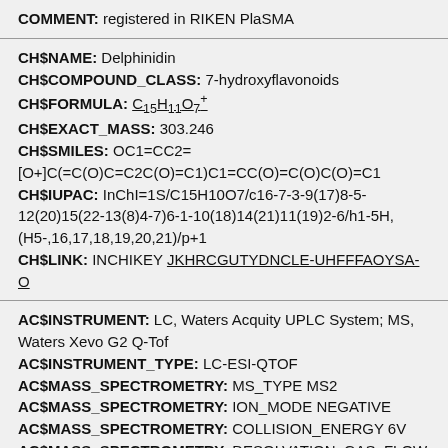COMMENT: registered in RIKEN PlaSMA
CH$NAME: Delphinidin
CH$COMPOUND_CLASS: 7-hydroxyflavonoids
CH$FORMULA: C15H11O7+
CH$EXACT_MASS: 303.246
CH$SMILES: OC1=CC2=[O+]C(=C(O)C=C2C(O)=C1)C1=CC(O)=C(O)C(O)=C1
CH$IUPAC: InChI=1S/C15H10O7/c16-7-3-9(17)8-5-12(20)15(22-13(8)4-7)6-1-10(18)14(21)11(19)2-6/h1-5H,(H5-,16,17,18,19,20,21)/p+1
CH$LINK: INCHIKEY JKHRCGUTYDNCLE-UHFFFAOYSA-O
AC$INSTRUMENT: LC, Waters Acquity UPLC System; MS, Waters Xevo G2 Q-Tof
AC$INSTRUMENT_TYPE: LC-ESI-QTOF
AC$MASS_SPECTROMETRY: MS_TYPE MS2
AC$MASS_SPECTROMETRY: ION_MODE NEGATIVE
AC$MASS_SPECTROMETRY: COLLISION_ENERGY 6V
AC$MASS_SPECTROMETRY: DESOLVATION_GAS_FLOW 800/h